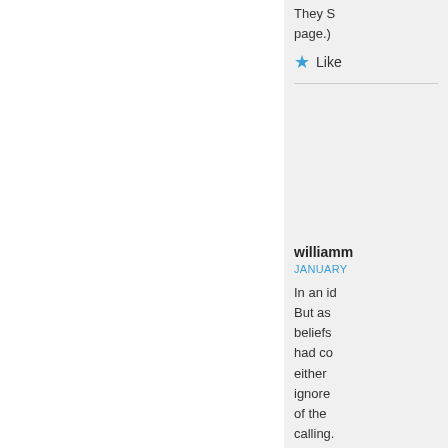They S page.)
Like
williamm
JANUARY
In an id But as beliefs had co either ignore of the calling. Maybe surriva surriva needin relato